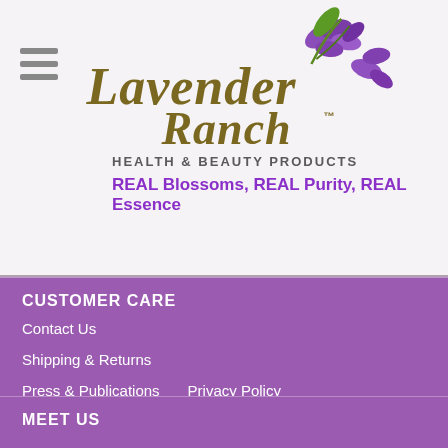[Figure (logo): Lavender Ranch Health & Beauty Products logo with purple lavender flowers graphic and olive/gold stylized text]
REAL Blossoms, REAL Purity, REAL Essence
CUSTOMER CARE
Contact Us
Shipping & Returns
Press & Publications
Privacy Policy
MEET US
At Lavender Ranch™, we provide real blossoms, purity and essence. We create health and beauty products that are free of toxins and